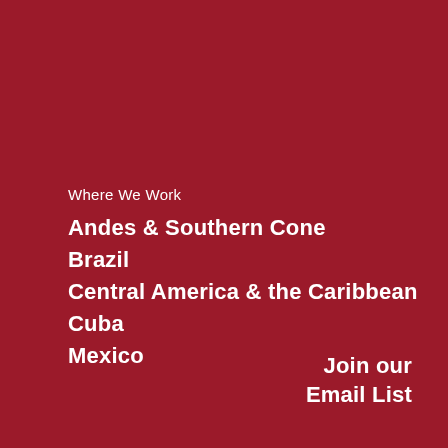Where We Work
Andes & Southern Cone
Brazil
Central America & the Caribbean
Cuba
Mexico
Join our Email List